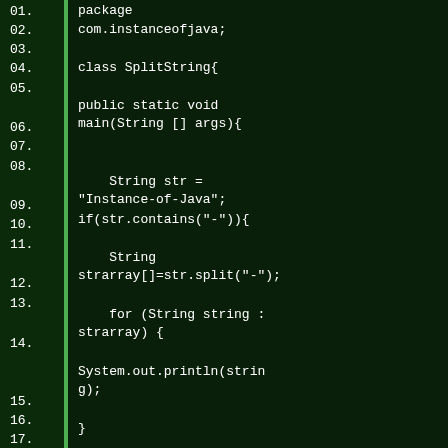[Figure (screenshot): Java code editor screenshot showing lines 01-21 of a SplitString class. Dark green background with white monospace text and a bright green vertical divider between line numbers and code. Code implements string splitting logic checking if a string contains a hyphen character.]